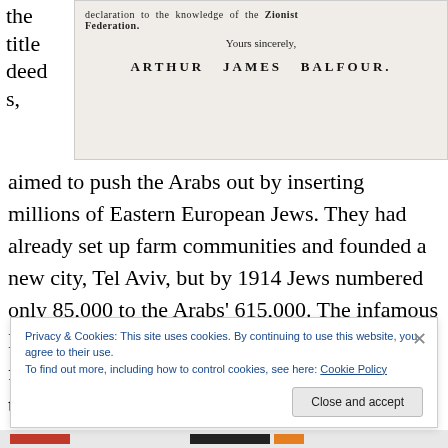[Figure (screenshot): Scanned letter excerpt showing text 'declaration to the knowledge of the Zionist Federation.' followed by 'Yours sincerely,' and signature 'ARTHUR JAMES BALFOUR.']
aimed to push the Arabs out by inserting millions of Eastern European Jews. They had already set up farm communities and founded a new city, Tel Aviv, but by 1914 Jews numbered only 85,000 to the Arabs' 615,000. The infamous Balfour Declaration of 1917 — actually a letter from the British foreign secretary, Lord Balfour, to the most senior Jew in England, Lord Rothschild — pledged
Privacy & Cookies: This site uses cookies. By continuing to use this website, you agree to their use.
To find out more, including how to control cookies, see here: Cookie Policy
Close and accept